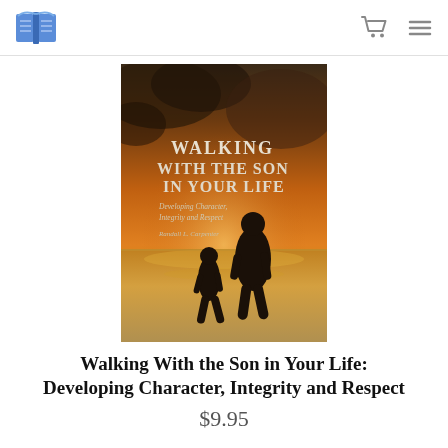Bookstore header with logo, cart icon, and menu icon
[Figure (illustration): Book cover for 'Walking With the Son in Your Life: Developing Character, Integrity and Respect' by Randall L. Carpenter. Shows silhouettes of an adult and child walking on a beach at sunset with an orange/amber sky.]
Walking With the Son in Your Life: Developing Character, Integrity and Respect
$9.95